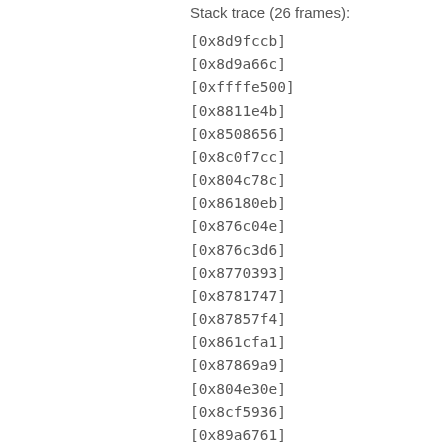Stack trace (26 frames):
[0x8d9fccb]
[0x8d9a66c]
[0xffffe500]
[0x8811e4b]
[0x8508656]
[0x8c0f7cc]
[0x804c78c]
[0x86180eb]
[0x876c04e]
[0x876c3d6]
[0x8770393]
[0x8781747]
[0x87857f4]
[0x861cfa1]
[0x87869a9]
[0x804e30e]
[0x8cf5936]
[0x89a6761]
[0x8939c96]
[0x893b3f1]
[0x898a502]
[0x85e96ae]
[0x87289aa]
[0x8738...]